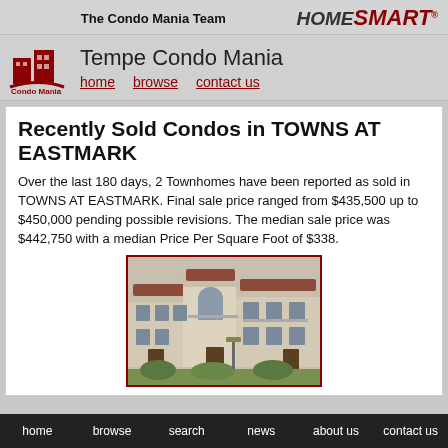The Condo Mania Team   HOMESMART
Tempe Condo Mania
home   browse   contact us
Recently Sold Condos in TOWNS AT EASTMARK
Over the last 180 days, 2 Townhomes have been reported as sold in TOWNS AT EASTMARK. Final sale price ranged from $435,500 up to $450,000 pending possible revisions. The median sale price was $442,750 with a median Price Per Square Foot of $338.
[Figure (photo): Exterior photo of TOWNS AT EASTMARK townhome community showing multi-story stucco buildings with arched windows and landscaping]
home   browse   search   news   about us   contact us